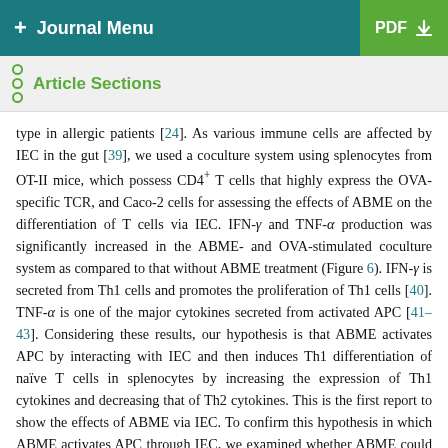+ Journal Menu | PDF ↓
Article Sections
type in allergic patients [24]. As various immune cells are affected by IEC in the gut [39], we used a coculture system using splenocytes from OT-II mice, which possess CD4+ T cells that highly express the OVA-specific TCR, and Caco-2 cells for assessing the effects of ABME on the differentiation of T cells via IEC. IFN-γ and TNF-α production was significantly increased in the ABME- and OVA-stimulated coculture system as compared to that without ABME treatment (Figure 6). IFN-γ is secreted from Th1 cells and promotes the proliferation of Th1 cells [40]. TNF-α is one of the major cytokines secreted from activated APC [41–43]. Considering these results, our hypothesis is that ABME activates APC by interacting with IEC and then induces Th1 differentiation of naïve T cells in splenocytes by increasing the expression of Th1 cytokines and decreasing that of Th2 cytokines. This is the first report to show the effects of ABME via IEC. To confirm this hypothesis in which ABME activates APC through IEC, we examined whether ABME could activate macrophages in a slightly